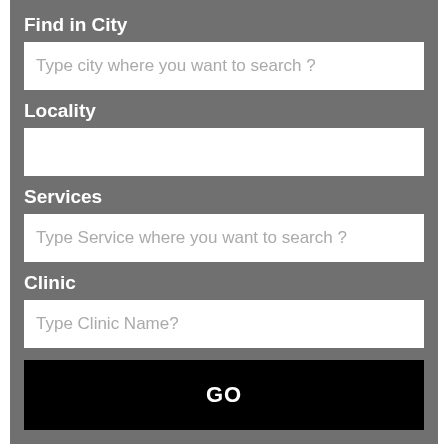Find in City
Type city where you want to search ?
Locality
Services
Type Service where you want to search ?
Clinic
Type Clinic Name?
GO
[Figure (photo): Taj Mahal silhouette at sunset with orange sky background]